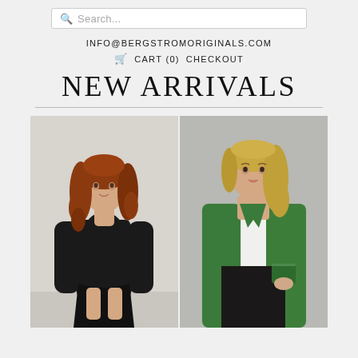Search...
INFO@BERGSTROMORIGINALS.COM
CART (0)  CHECKOUT
NEW ARRIVALS
[Figure (photo): Two fashion photos side by side: left shows a woman in a black long-sleeve midi dress with auburn curly hair; right shows a woman in a green knit cardigan over a white top with black leather skirt, blonde hair.]